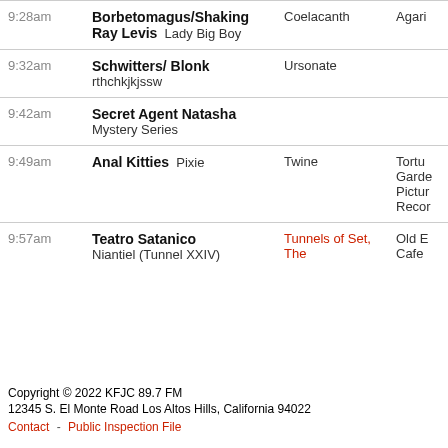| Time | Show/Song | Album | Label |
| --- | --- | --- | --- |
| 9:28am | Borbetomagus/Shaking Ray Levis  Lady Big Boy | Coelacanth | Agari… |
| 9:32am | Schwitters/ Blonk
rthchkjkjssw | Ursonate |  |
| 9:42am | Secret Agent Natasha
Mystery Series |  |  |
| 9:49am | Anal Kitties  Pixie | Twine | Tortu… Garde… Pictur… Recor… |
| 9:57am | Teatro Satanico
Niantiel (Tunnel XXIV) | Tunnels of Set, The | Old E… Cafe… |
Copyright © 2022 KFJC 89.7 FM
12345 S. El Monte Road Los Altos Hills, California 94022
Contact · Public Inspection File